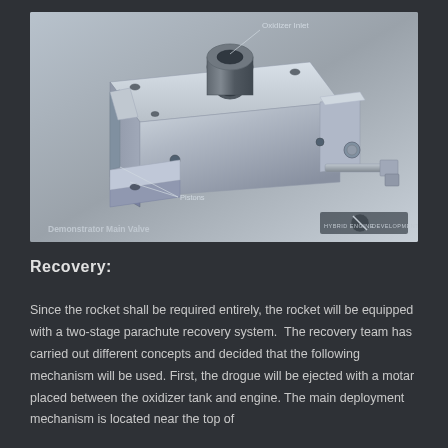[Figure (engineering-diagram): CAD rendering of a Demonstrator Main Valve component. The component is a rectangular metal block with a cylindrical oxidizer inlet at the top center, pistons labeled on the left side, mounting holes at the corners, and a rod/actuator extending from the right side. Labels: 'Oxidizer Inlet' at top, 'Pistons' on left, 'Demonstrator Main Valve' at bottom left. Hybrid Engine Development logo at bottom right.]
Recovery:
Since the rocket shall be required entirely, the rocket will be equipped with a two-stage parachute recovery system.  The recovery team has carried out different concepts and decided that the following mechanism will be used. First, the drogue will be ejected with a motar placed between the oxidizer tank and engine. The main deployment mechanism is located near the top of